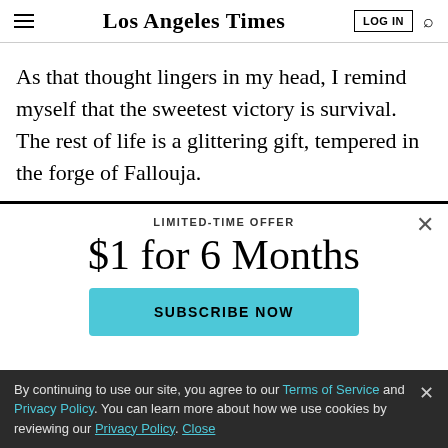Los Angeles Times | LOG IN | Search
As that thought lingers in my head, I remind myself that the sweetest victory is survival. The rest of life is a glittering gift, tempered in the forge of Fallouja.
LIMITED-TIME OFFER
$1 for 6 Months
SUBSCRIBE NOW
By continuing to use our site, you agree to our Terms of Service and Privacy Policy. You can learn more about how we use cookies by reviewing our Privacy Policy. Close